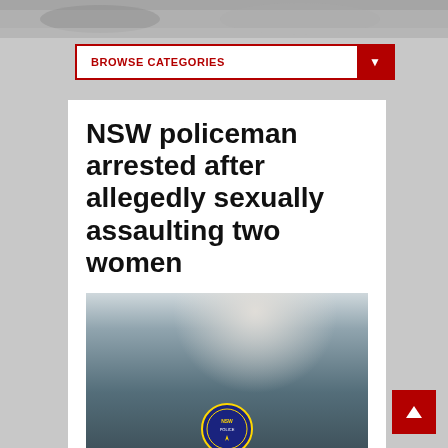[Figure (photo): Top banner showing a blurred vehicle/street scene in greyscale]
BROWSE CATEGORIES
NSW policeman arrested after allegedly sexually assaulting two women
[Figure (photo): Close-up photograph of a NSW Police officer in uniform showing the NSW Police badge on the shoulder]